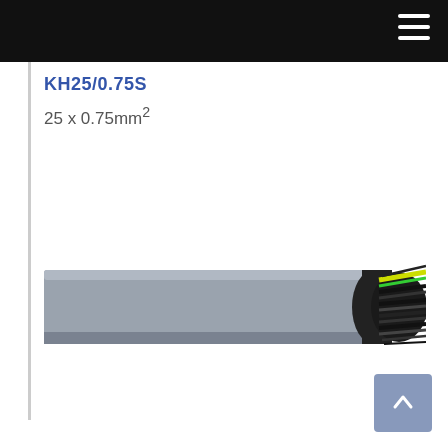KH25/0.75S
25 x 0.75mm²
[Figure (photo): Industrial multi-core cable shown horizontally. The left portion features a smooth grey PVC outer sheath. The right end is stripped to reveal a black outer layer and multiple individual conductors including a green-yellow earth wire, with stranded wires fanning out.]